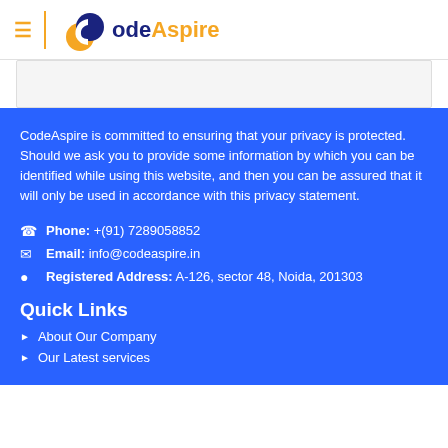[Figure (logo): CodeAspire logo with hamburger menu, orange/yellow divider line, circular logo mark, and 'CodeAspire' text with 'Code' in dark blue and 'Aspire' in orange]
CodeAspire is committed to ensuring that your privacy is protected. Should we ask you to provide some information by which you can be identified while using this website, and then you can be assured that it will only be used in accordance with this privacy statement.
Phone: +(91) 7289058852
Email: info@codeaspire.in
Registered Address: A-126, sector 48, Noida, 201303
Quick Links
About Our Company
Our Latest services